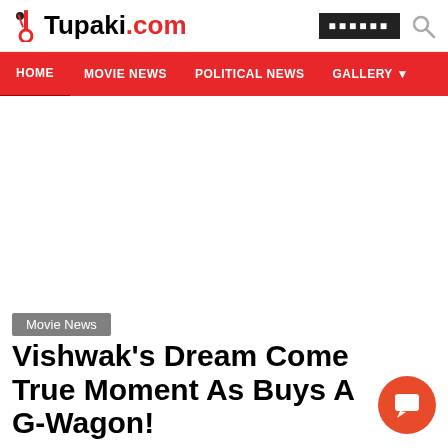Tupaki.com
HOME | MOVIE NEWS | POLITICAL NEWS | GALLERY
Movie News
Vishwak's Dream Come True Moment As Buys A G-Wagon!